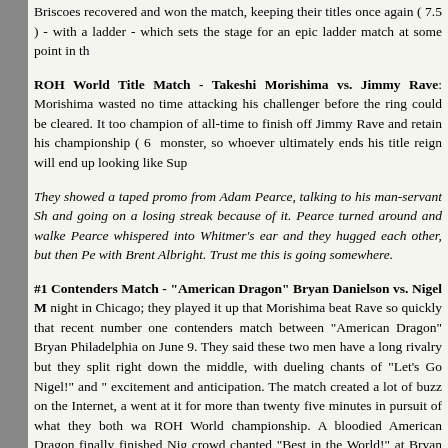Briscoes recovered and won the match, keeping their titles once again (7.5) - with a ladder - which sets the stage for an epic ladder match at some point in th
ROH World Title Match - Takeshi Morishima vs. Jimmy Rave: Morishima wasted no time attacking his challenger before the ring could be cleared. It too champion of all-time to finish off Jimmy Rave and retain his championship ( monster, so whoever ultimately ends his title reign will end up looking like Sup
They showed a taped promo from Adam Pearce, talking to his man-servant Sh and going on a losing streak because of it. Pearce turned around and walke Pearce whispered into Whitmer's ear and they hugged each other, but then Pe with Brent Albright. Trust me this is going somewhere.
#1 Contenders Match - "American Dragon" Bryan Danielson vs. Nigel M night in Chicago; they played it up that Morishima beat Rave so quickly that recent number one contenders match between "American Dragon" Bryan Philadelphia on June 9. They said these two men have a long rivalry but they split right down the middle, with dueling chants of "Let's Go Nigel!" and " excitement and anticipation. The match created a lot of buzz on the Internet, a went at it for more than twenty five minutes in pursuit of what they both wa ROH World championship. A bloodied American Dragon finally finished Nig crowd chanted "Best in the World!" at Bryan Danielson, who pointed at Nig Both men shook hands and the fans chanted "Thank you, both!" and "ROH!" as
=== BONUS MATCHES ON DISC #2 ===
The Minnesota Home-wrecking Crew (Rain & Lacey w/Jimmy Jacobs) vs. Lacey's entrance music kicks ass - if anyone knows what it is please let me kn Jacobs accompanied the team of Rain and Lacey to the ring, for a SHIMMER